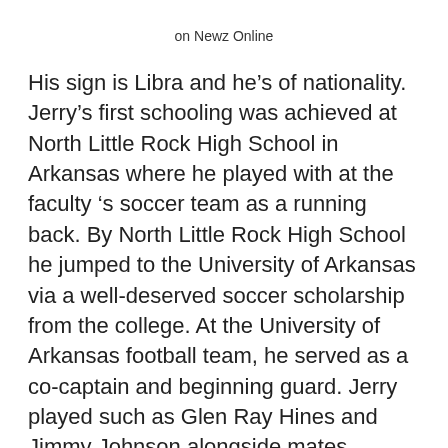on Newz Online
His sign is Libra and he’s of nationality. Jerry’s first schooling was achieved at North Little Rock High School in Arkansas where he played with at the faculty ‘s soccer team as a running back. By North Little Rock High School he jumped to the University of Arkansas via a well-deserved soccer scholarship from the college. At the University of Arkansas football team, he served as a co-captain and beginning guard. Jerry played such as Glen Ray Hines and Jimmy Johnson alongside mates. Following his college education in 1965, Jerry joined the Modern Security Life of Springfield that is his dad ‘s insurer. He worked in the insurance carrier in his capacity as the Administrative Vice President. It’s very important to remember that in 1970, Jerry